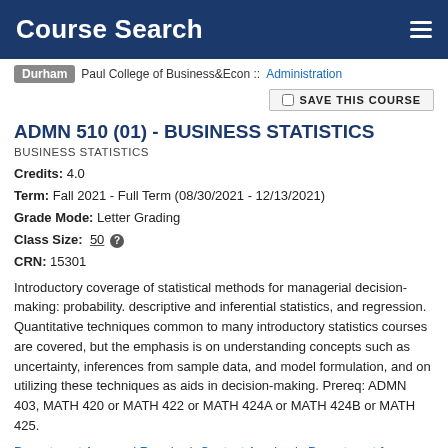Course Search
Durham | Paul College of Business&Econ :: Administration
SAVE THIS COURSE
ADMN 510 (01) - BUSINESS STATISTICS
BUSINESS STATISTICS
Credits: 4.0
Term: Fall 2021 - Full Term (08/30/2021 - 12/13/2021)
Grade Mode: Letter Grading
Class Size: 50
CRN: 15301
Introductory coverage of statistical methods for managerial decision-making: probability. descriptive and inferential statistics, and regression. Quantitative techniques common to many introductory statistics courses are covered, but the emphasis is on understanding concepts such as uncertainty, inferences from sample data, and model formulation, and on utilizing these techniques as aids in decision-making. Prereq: ADMN 403, MATH 420 or MATH 422 or MATH 424A or MATH 424B or MATH 425.
Department Approval Required. Contact Academic Department for